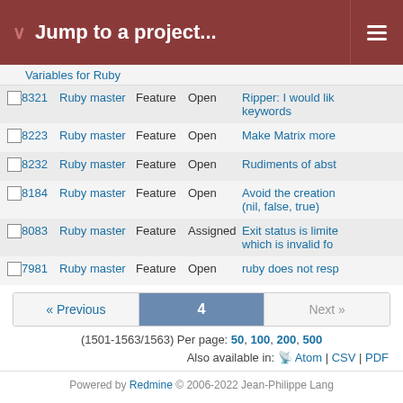Jump to a project...
|  | # | Project | Tracker | Status | Subject |
| --- | --- | --- | --- | --- | --- |
|  | 8321 | Ruby master | Feature | Open | Ripper: I would like keywords |
|  | 8223 | Ruby master | Feature | Open | Make Matrix more |
|  | 8232 | Ruby master | Feature | Open | Rudiments of abst |
|  | 8184 | Ruby master | Feature | Open | Avoid the creation (nil, false, true) |
|  | 8083 | Ruby master | Feature | Assigned | Exit status is limite which is invalid for |
|  | 7981 | Ruby master | Feature | Open | ruby does not resp |
« Previous  4  Next »
(1501-1563/1563) Per page: 50, 100, 200, 500
Also available in: Atom | CSV | PDF
Powered by Redmine © 2006-2022 Jean-Philippe Lang